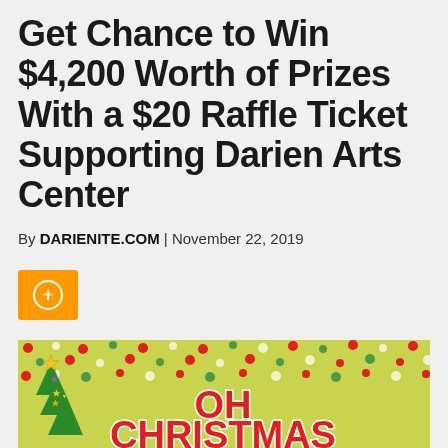Get Chance to Win $4,200 Worth of Prizes With a $20 Raffle Ticket Supporting Darien Arts Center
By DARIENITE.COM | November 22, 2019
[Figure (illustration): Orange button with plus/cross icon inside a white circle outline]
[Figure (illustration): Christmas themed promotional image with a green Christmas tree decorated with stars, red and green polka dot confetti on a yellow-green background, with large red block letters reading OH CHRISTMAS]